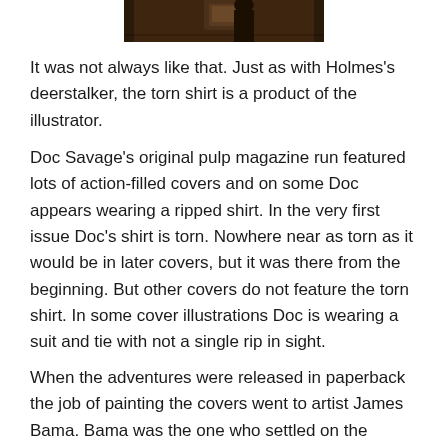[Figure (photo): Partial view of a book or magazine cover featuring Doc Savage, cropped at the top of the page.]
It was not always like that. Just as with Holmes's deerstalker, the torn shirt is a product of the illustrator.
Doc Savage's original pulp magazine run featured lots of action-filled covers and on some Doc appears wearing a ripped shirt. In the very first issue Doc's shirt is torn. Nowhere near as torn as it would be in later covers, but it was there from the beginning. But other covers do not feature the torn shirt. In some cover illustrations Doc is wearing a suit and tie with not a single rip in sight.
When the adventures were released in paperback the job of painting the covers went to artist James Bama. Bama was the one who settled on the image of the torn shirt (the